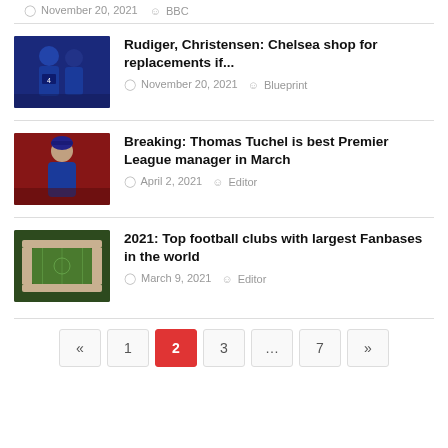November 20, 2021  BBC
[Figure (photo): Two Chelsea football players in blue uniforms on a dark pitch]
Rudiger, Christensen: Chelsea shop for replacements if...
November 20, 2021  Blueprint
[Figure (photo): Thomas Tuchel in a blue Chelsea tracksuit standing on a pitch]
Breaking: Thomas Tuchel is best Premier League manager in March
April 2, 2021  Editor
[Figure (photo): Aerial view of a football stadium with green pitch]
2021: Top football clubs with largest Fanbases in the world
March 9, 2021  Editor
«  1  2  3  ...  7  »